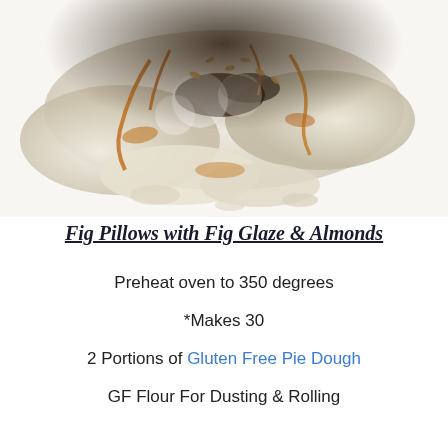[Figure (photo): Close-up photo of Fig Pillows pastries on a white plate, showing flaky dough filled with fig, topped with chopped almonds and fig glaze drizzled over them]
Fig Pillows with Fig Glaze & Almonds
Preheat oven to 350 degrees
*Makes 30
2 Portions of Gluten Free Pie Dough
GF Flour For Dusting & Rolling